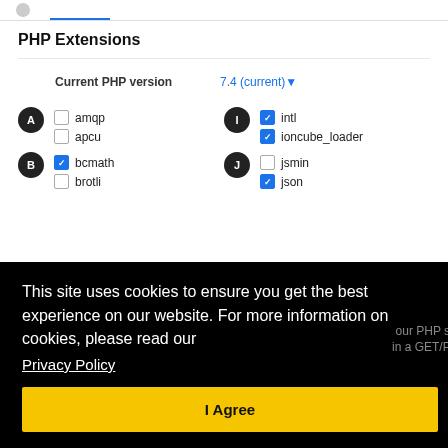PHP Extensions
Current PHP version   7.4 (current)▾
[Figure (screenshot): PHP Extensions settings panel showing checkboxes for extensions grouped by letter (A: amqp, apcu; B: bcmath checked, brotli; I: intl checked, ioncube_loader checked; J: jsmin, json checked) with current PHP version selector showing 7.4 (current)]
This site uses cookies to ensure you get the best experience on our website. For more information on cookies, please read our
Privacy Policy
I Agree